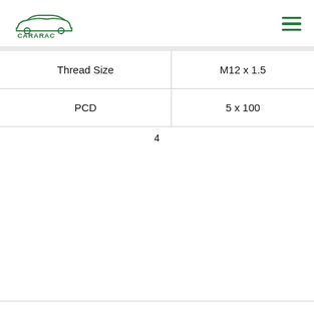CARARAC
| Thread Size | M12 x 1.5 |
| PCD | 5 x 100 |
4